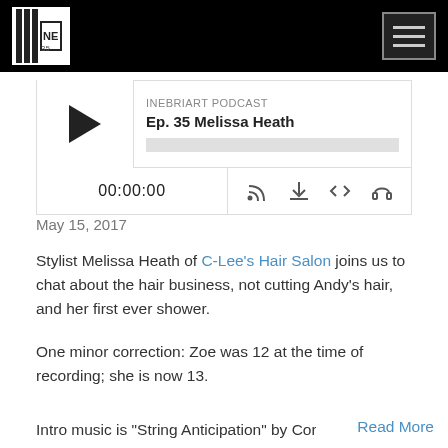[Figure (screenshot): Black navigation bar with podcast logo on left and hamburger menu button on right]
[Figure (screenshot): Podcast audio player widget showing INEBRIART PODCAST, Ep. 35 Melissa Heath, with play button, progress bar, time display 00:00:00, and control icons for RSS, download, embed, and headphones]
May 15, 2017
Stylist Melissa Heath of C-Lee's Hair Salon joins us to chat about the hair business, not cutting Andy's hair, and her first ever shower.
One minor correction: Zoe was 12 at the time of recording; she is now 13.
Intro music is "String Anticipation" by Cory...
Read More